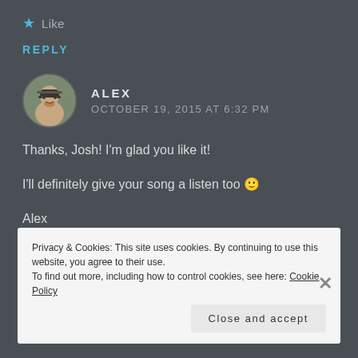★ Like
REPLY
ALEX
OCTOBER 19, 2015 AT 6:32 PM
Thanks, Josh! I'm glad you like it!

I'll definitely give your song a listen too 🙂

Alex
Privacy & Cookies: This site uses cookies. By continuing to use this website, you agree to their use.
To find out more, including how to control cookies, see here: Cookie Policy

Close and accept